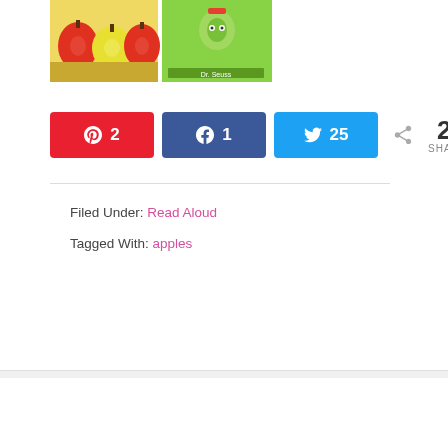[Figure (illustration): Two book covers: one showing apples with red and yellow colours, one showing a Dr. Seuss style green book]
A 2  f 1  t 25  < 28 SHARES
Filed Under: Read Aloud
Tagged With: apples
« Apple Core Stamping Art for Kids
Apple Sensory Bin »